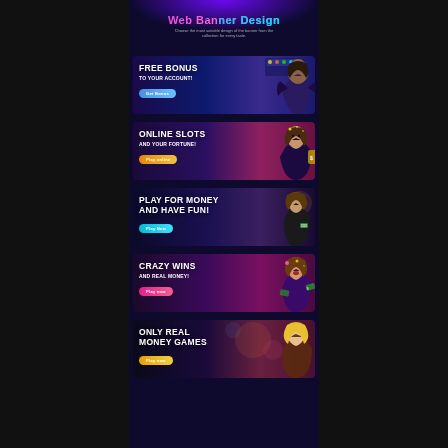Web Banner Design
Choose the most suitable design of the banner from the collection for every taste.
[Figure (screenshot): Casino banner: FREE BONUS TO YOUR ACCOUNT! with Get Bonus button and woman at slot machines]
[Figure (screenshot): Casino banner: ONLINE SLOTS AND YOUR FORTUNE! with Play Online button and excited woman with gold slot machine]
[Figure (screenshot): Casino banner: PLAY FOR MONEY AND HAVE FUN! with Play Now button and woman in nightclub]
[Figure (screenshot): Casino banner: CRAZY WINS AND REAL MONEY! with Play Now button and excited woman holding money]
[Figure (screenshot): Casino banner: ONLY REAL MONEY GAMES with button and blonde woman]